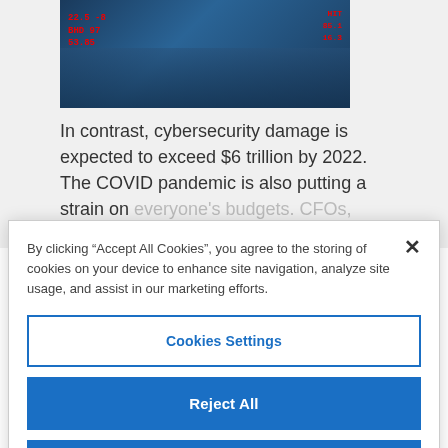[Figure (photo): Stock market ticker board on a building facade showing red financial data]
In contrast, cybersecurity damage is expected to exceed $6 trillion by 2022. The COVID pandemic is also putting a strain on everyone's budgets. CFOs, CIOs, and CISOs...
By clicking “Accept All Cookies”, you agree to the storing of cookies on your device to enhance site navigation, analyze site usage, and assist in our marketing efforts.
Cookies Settings
Reject All
Accept All Cookies